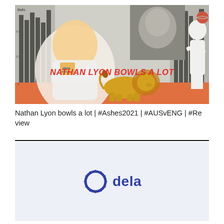[Figure (photo): Thumbnail image for a cricket video titled 'NATHAN LYON BOWLS A LOT' with hashtags #Ashes2021 #AUSvENG #Review. Shows Nathan Lyon celebrating on the left, a black-and-white portrait on the top right, a white cricketer silhouette on the right, a golden lion in the center bottom, an orange background strip, and a bar chart graphic on the far left.]
Nathan Lyon bowls a lot | #Ashes2021 | #AUSvENG | #Review
[Figure (logo): Dela logo: a blue gear/sunburst icon on the left and the word 'dela' in bold blue text on the right, displayed on a light grey-blue background box.]